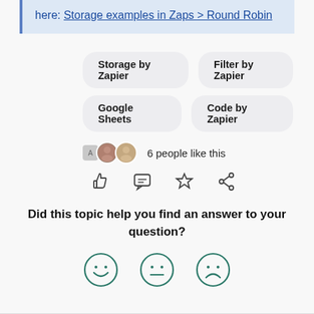here: Storage examples in Zaps > Round Robin
Storage by Zapier
Filter by Zapier
Google Sheets
Code by Zapier
6 people like this
[Figure (infographic): Social action icons: thumbs up, comment, star, share]
Did this topic help you find an answer to your question?
[Figure (infographic): Three emoji feedback faces: happy, neutral, sad]